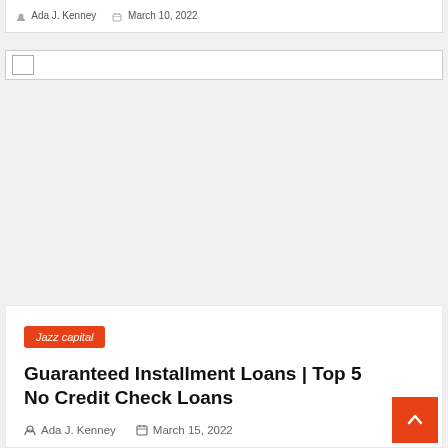Ada J. Kenney  March 10, 2022
[Figure (other): Search bar with checkbox input field]
Jazz capital
Guaranteed Installment Loans | Top 5 No Credit Check Loans
Ada J. Kenney  March 15, 2022